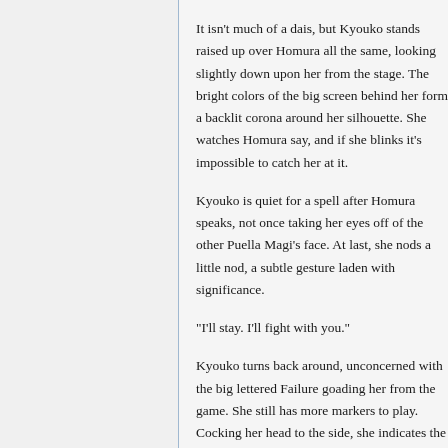It isn't much of a dais, but Kyouko stands raised up over Homura all the same, looking slightly down upon her from the stage. The bright colors of the big screen behind her form a backlit corona around her silhouette. She watches Homura say, and if she blinks it's impossible to catch her at it.
Kyouko is quiet for a spell after Homura speaks, not once taking her eyes off of the other Puella Magi's face. At last, she nods a little nod, a subtle gesture laden with significance.
"I'll stay. I'll fight with you."
Kyouko turns back around, unconcerned with the big lettered Failure goading her from the game. She still has more markers to play. Cocking her head to the side, she indicates the other side of the